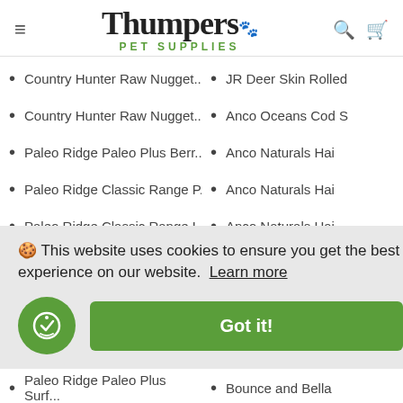[Figure (logo): Thumpers Pet Supplies logo with paw print icon in green]
Country Hunter Raw Nugget...
JR Deer Skin Rolled
Country Hunter Raw Nugget...
Anco Oceans Cod S
Paleo Ridge Paleo Plus Berr...
Anco Naturals Hai
Paleo Ridge Classic Range P...
Anco Naturals Hai
Paleo Ridge Classic Range L...
Anco Naturals Hai
🍪 This website uses cookies to ensure you get the best experience on our website. Learn more
Paleo Ridge Paleo Plus Surf...
Bounce and Bella